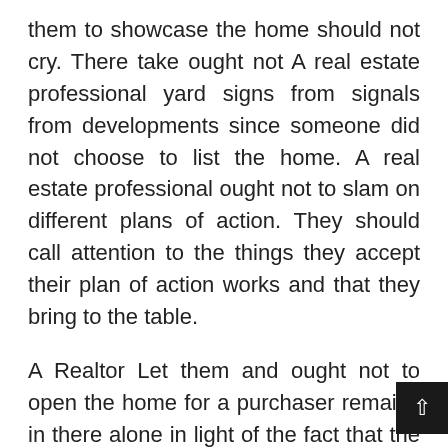them to showcase the home should not cry. There take ought not A real estate professional yard signs from signals from developments since someone did not choose to list the home. A real estate professional ought not to slam on different plans of action. They should call attention to the things they accept their plan of action works and that they bring to the table.
A Realtor Let them and ought not to open the home for a purchaser remains in there alone in light of the fact that the purchaser looks fine. A real estate agent ought to analyze the distinguishing proof of a buyer since they perceive that they are responsible for the property of the merchant. A real estate age should be grateful that somebody is set up pay them a huge number of dollars for work tha